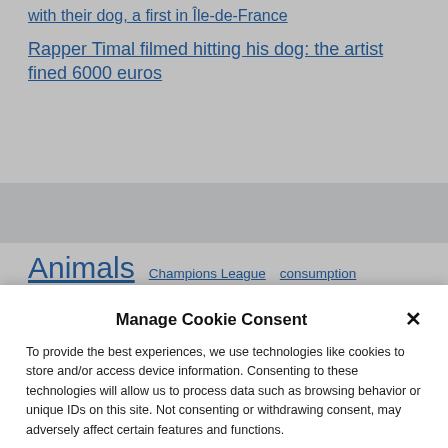with their dog, a first in Île-de-France
Rapper Timal filmed hitting his dog: the artist fined 6000 euros
Animals   Champions League   consumption
Manage Cookie Consent
To provide the best experiences, we use technologies like cookies to store and/or access device information. Consenting to these technologies will allow us to process data such as browsing behavior or unique IDs on this site. Not consenting or withdrawing consent, may adversely affect certain features and functions.
Accept
Cookie Policy